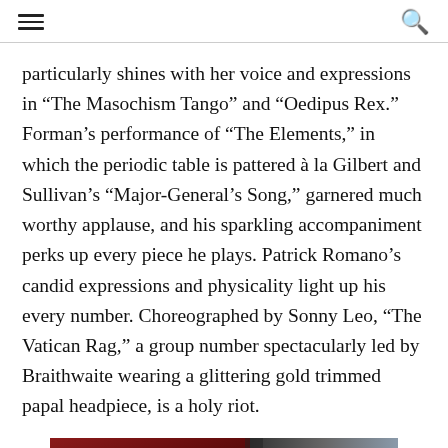[hamburger menu] [search icon]
particularly shines with her voice and expressions in “The Masochism Tango” and “Oedipus Rex.” Forman’s performance of “The Elements,” in which the periodic table is pattered à la Gilbert and Sullivan’s “Major-General’s Song,” garnered much worthy applause, and his sparkling accompaniment perks up every piece he plays. Patrick Romano’s candid expressions and physicality light up his every number. Choreographed by Sonny Leo, “The Vatican Rag,” a group number spectacularly led by Braithwaite wearing a glittering gold trimmed papal headpiece, is a holy riot.
[Figure (photo): Partial view of performers on stage, showing costumes in red/dark and grey tones]